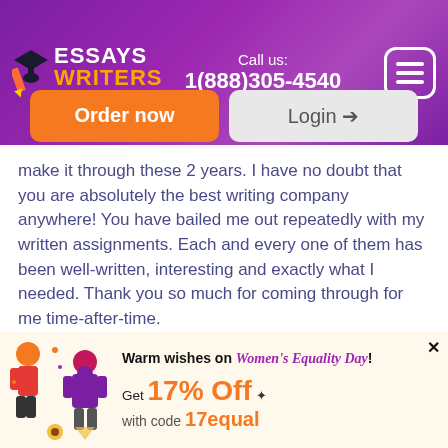[Figure (screenshot): Website header with purple gradient background showing Essays Writers logo, phone number, orange Order Now button, Login button, and hamburger menu icon]
make it through these 2 years. I have no doubt that you are absolutely the best writing company anywhere! You have bailed me out repeatedly with my written assignments. Each and every one of them has been well-written, interesting and exactly what I needed. Thank you so much for coming through for me time-after-time.
[Figure (other): View all button in purple]
[Figure (illustration): Bottom promotional banner: Warm wishes on Women's Equality Day! Get 17% Off with code 17equal, with illustrated figures of a man and woman]